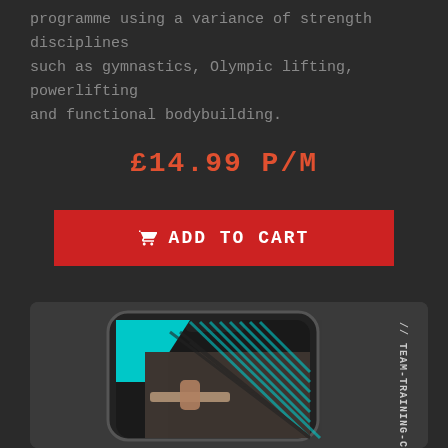programme using a variance of strength disciplines such as gymnastics, Olympic lifting, powerlifting and functional bodybuilding.
£14.99 P/M
ADD TO CART
[Figure (screenshot): A smartphone displaying a fitness app with teal and diagonal stripe overlay design, showing a person gripping a bar in a gym. Text '//TEAM-TRAINING-CON' visible vertically on the right side.]